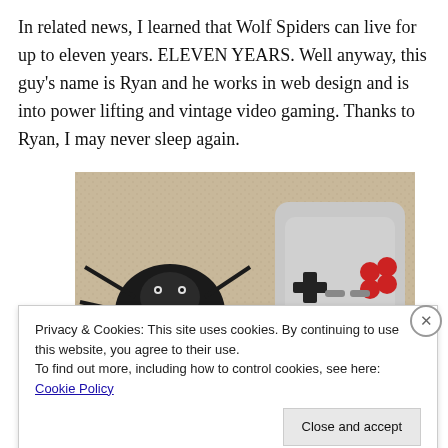In related news, I learned that Wolf Spiders can live for up to eleven years. ELEVEN YEARS. Well anyway, this guy's name is Ryan and he works in web design and is into power lifting and vintage video gaming. Thanks to Ryan, I may never sleep again.
[Figure (photo): Close-up photo of a wolf spider next to an NES video game controller on a beige carpet]
Privacy & Cookies: This site uses cookies. By continuing to use this website, you agree to their use.
To find out more, including how to control cookies, see here: Cookie Policy
[Close and accept button]